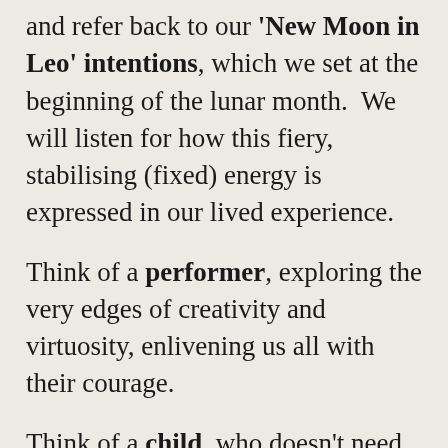and refer back to our 'New Moon in Leo' intentions, which we set at the beginning of the lunar month.  We will listen for how this fiery, stabilising (fixed) energy is expressed in our lived experience.
Think of a performer, exploring the very edges of creativity and virtuosity, enlivening us all with their courage.
Think of a child, who doesn't need anyone to teach them how to play, deeply immersed in the present moment.
Think of a queen, sovereign to her very core, no word of an apology on her lips.